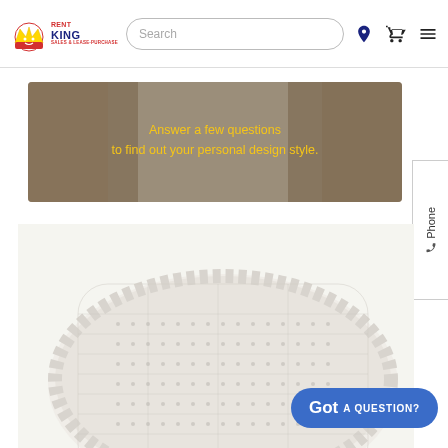[Figure (logo): Rent King Sales & Lease-Purchase logo with crown icon]
[Figure (screenshot): Search bar input field]
[Figure (photo): Banner image showing curtains/drapes in a room with text 'Answer a few questions to find out your personal design style.']
[Figure (photo): White knitted/woven decorative pillow on a plain background]
[Figure (other): Phone tab on the right edge of the page]
[Figure (other): Blue 'Got A Question?' chat button in the bottom right corner]